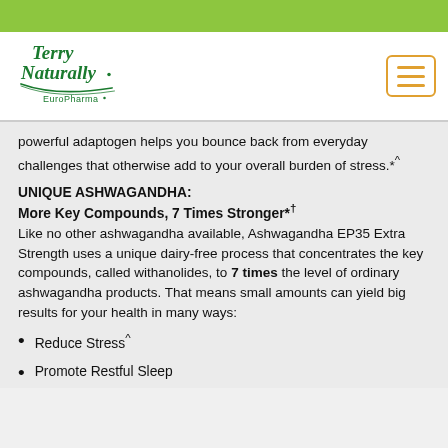[Figure (logo): Terry Naturally EuroPharma logo in dark green script font]
powerful adaptogen helps you bounce back from everyday challenges that otherwise add to your overall burden of stress.*^
UNIQUE ASHWAGANDHA:
More Key Compounds, 7 Times Stronger*†
Like no other ashwagandha available, Ashwagandha EP35 Extra Strength uses a unique dairy-free process that concentrates the key compounds, called withanolides, to 7 times the level of ordinary ashwagandha products. That means small amounts can yield big results for your health in many ways:
Reduce Stress^
Promote Restful Sleep